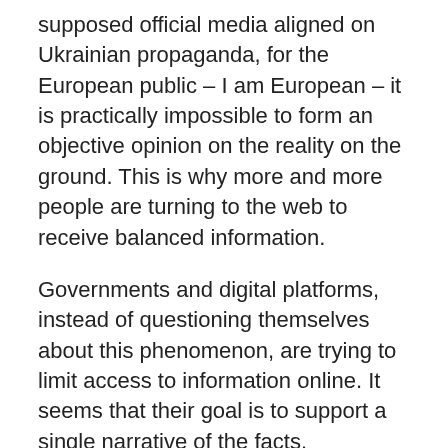supposed official media aligned on Ukrainian propaganda, for the European public – I am European – it is practically impossible to form an objective opinion on the reality on the ground. This is why more and more people are turning to the web to receive balanced information.
Governments and digital platforms, instead of questioning themselves about this phenomenon, are trying to limit access to information online. It seems that their goal is to support a single narrative of the facts.
War is traumatic in itself, and I know something about it. There is no need to make it even more horrible by flooding the ether and paper with fake news. I think it is not useful to feed the conflict or widen it, feeding hatred.
It seems to me that there is some kind of interest in making the conflict last for a long time and spread